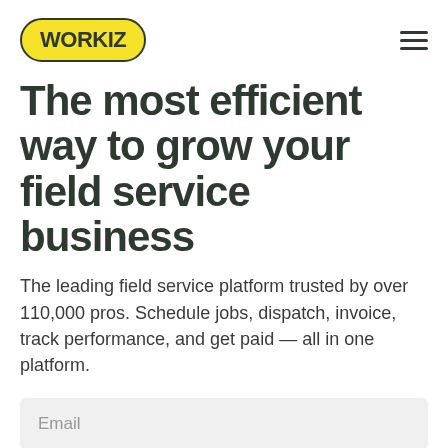[Figure (logo): Workiz logo: yellow rounded rectangle with dark green bold text 'WORKIZ']
The most efficient way to grow your field service business
The leading field service platform trusted by over 110,000 pros. Schedule jobs, dispatch, invoice, track performance, and get paid — all in one platform.
Email